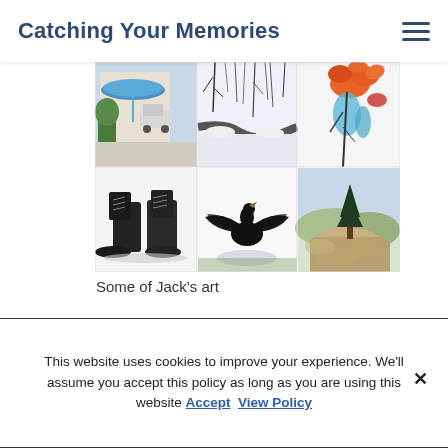Catching Your Memories
[Figure (photo): A 2x3 grid of Jack's artwork paintings: top row shows a street scene with blue umbrella and truck, a snowy winter creek scene, and an abstract floral/bird in orange and blue; bottom row shows military boots, a bird with spread wings, and a landscape with pine tree on rocky outcrop.]
Some of Jack's art
A few links
This website uses cookies to improve your experience. We'll assume you accept this policy as long as you are using this website Accept View Policy